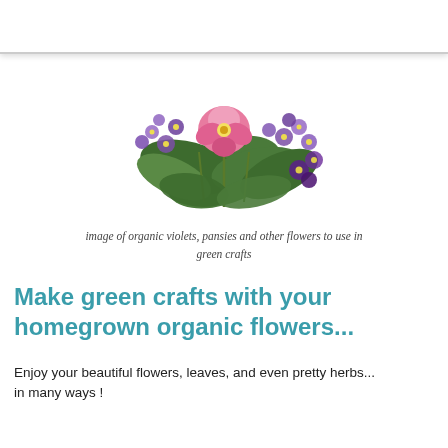[Figure (illustration): Vintage botanical illustration of organic violets, pansies and other purple and pink flowers with green leaves, centered near the top of the page]
image of organic violets, pansies and other flowers to use in green crafts
Make green crafts with your homegrown organic flowers...
Enjoy your beautiful flowers, leaves, and even pretty herbs... in many ways !
Bring some in to put in a vase to decorate your home and when they get old you can save the petals to make your own pretty potpourri.
Or, bring in fresh ones and press them flat in the pages of...